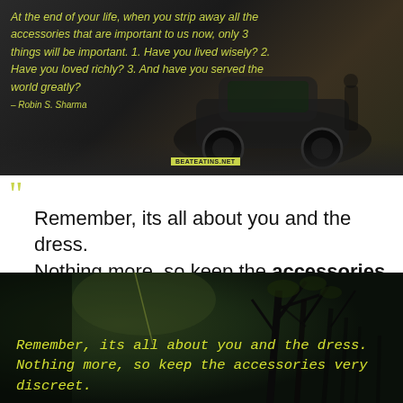[Figure (photo): Dark background with a car (muscle car) appearing to jump or race, with yellow-green text quote overlay on dark automotive scene]
At the end of your life, when you strip away all the accessories that are important to us now, only 3 things will be important. 1. Have you lived wisely? 2. Have you loved richly? 3. And have you served the world greatly?
– Robin S. Sharma
Remember, its all about you and the dress. Nothing more, so keep the accessories very discreet.  — Alice Temperley
[Figure (photo): Dark moody night forest scene with bare tree branches against dark sky, with yellow-green italic text quote overlay]
Remember, its all about you and the dress. Nothing more, so keep the accessories very discreet.